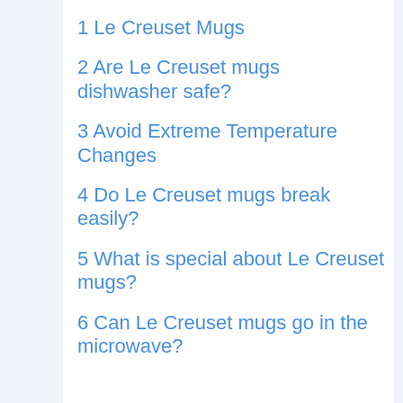1 Le Creuset Mugs
2 Are Le Creuset mugs dishwasher safe?
3 Avoid Extreme Temperature Changes
4 Do Le Creuset mugs break easily?
5 What is special about Le Creuset mugs?
6 Can Le Creuset mugs go in the microwave?